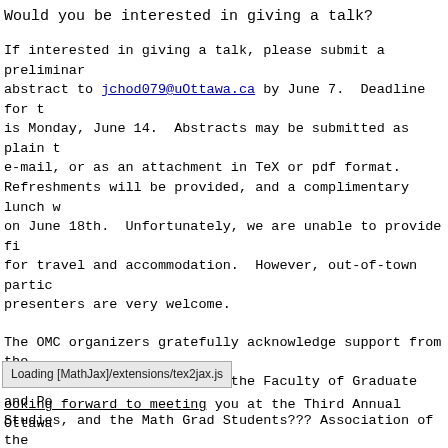Would you be interested in giving a talk?
If interested in giving a talk, please submit a preliminary abstract to jchod079@uOttawa.ca by June 7.  Deadline for the full abstract is Monday, June 14.  Abstracts may be submitted as plain text in e-mail, or as an attachment in TeX or pdf format. Refreshments will be provided, and a complimentary lunch will be served on June 18th.  Unfortunately, we are unable to provide financial support for travel and accommodation.  However, out-of-town participant presenters are very welcome.
The OMC organizers gratefully acknowledge support from the Department of Mathematics and Statistics, the Faculty of Graduate and Postdoctoral Studies, and the Math Grad Students??? Association of the University of Ottawa.
Faculty members:  Please encourage your graduate students to participate!
Looking forward to meeting you at the Third Annual Ottawa...